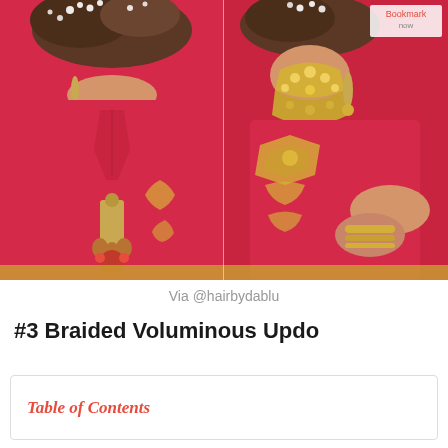[Figure (photo): Two side-by-side photos of a woman wearing a red and gold Indian bridal outfit (saree/lehenga). Left photo shows the back view with an open-back blouse with ties and decorative tassel, floral hair accessories. Right photo shows a side/front view with ornate gold embroidery on the blouse sleeve and a large gold kundan necklace, gold bangles.]
Via @hairbydablu
#3 Braided Voluminous Updo
Table of Contents